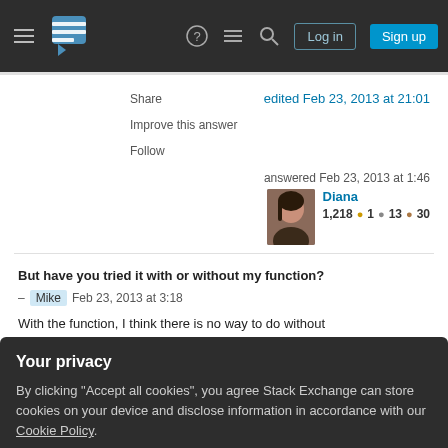Stack Exchange navigation bar with Log in and Sign up buttons
Share
Improve this answer
Follow
edited Feb 23, 2013 at 21:01
answered Feb 23, 2013 at 1:46
Diana 1,218 ●1 ●13 ●30
But have you tried it with or without my function?
– Mike Feb 23, 2013 at 3:18
With the function, I think there is no way to do without
Your privacy
By clicking "Accept all cookies", you agree Stack Exchange can store cookies on your device and disclose information in accordance with our Cookie Policy.
Accept all cookies
Customize settings
the category anyway, there's never been an intend